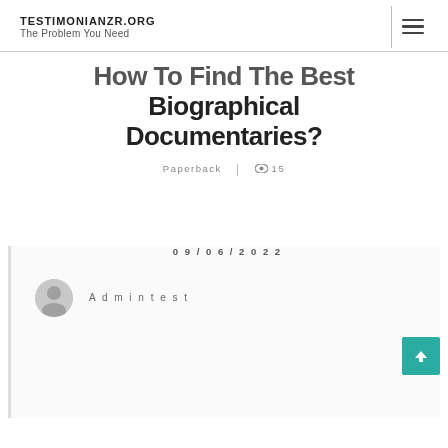TESTIMONIANZR.ORG
The Problem You Need
How To Find The Best Biographical Documentaries?
Paperback | 👁 15
09/06/2022
Admintest